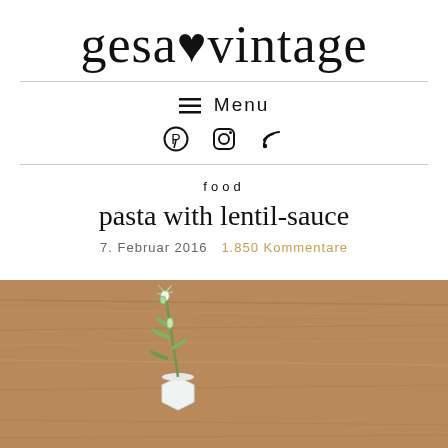gesa♥vintage
≡ Menu
Pinterest  Instagram  RSS
food
pasta with lentil-sauce
7. Februar 2016   1.850 Kommentare
[Figure (photo): Photo of a small white ceramic vase with white snowdrop flowers on a wooden table surface]